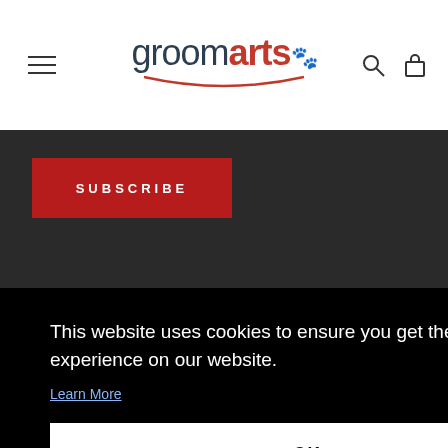[Figure (logo): Groom Arts logo with paw print icon and red swoosh underline]
[Figure (other): Subscribe button - red background with white uppercase text SUBSCRIBE]
© GROOMARTS
Powered by groomarts
[Figure (logo): PayPal logo badge]
This website uses cookies to ensure you get the best experience on our website.
Learn More
OK